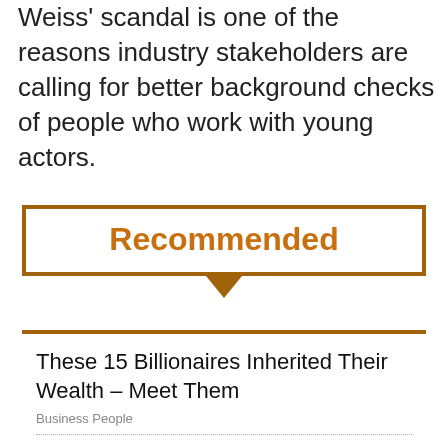Weiss' scandal is one of the reasons industry stakeholders are calling for better background checks of people who work with young actors.
Recommended
These 15 Billionaires Inherited Their Wealth – Meet Them
Business People
What is Alex Choi's Net Worth and How Did He